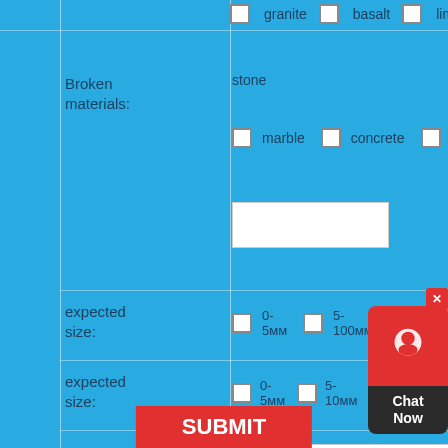granite  basalt  limestone  Pe...
Broken materials:
stone
marble  concrete  Construction wa...
expected size:
0-5мм  5-100мм  100-300м...
expected size:
0-5мм  5-10мм  10-20мм  0...
Additional information:
...
SUBMIT